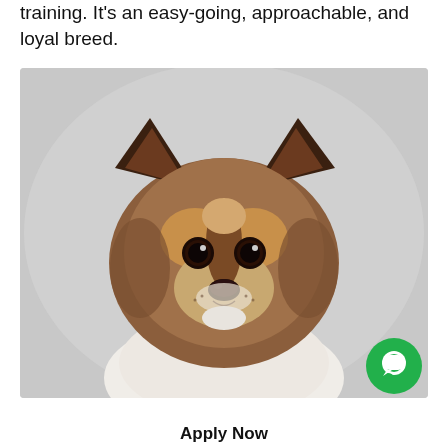training. It's an easy-going, approachable, and loyal breed.
[Figure (photo): Close-up portrait of a small long-haired Chihuahua dog with brown, tan and white fur, large dark ears, and expressive brown eyes, photographed against a light grey background. A green circular chat button is visible in the bottom-right corner of the image.]
Apply Now